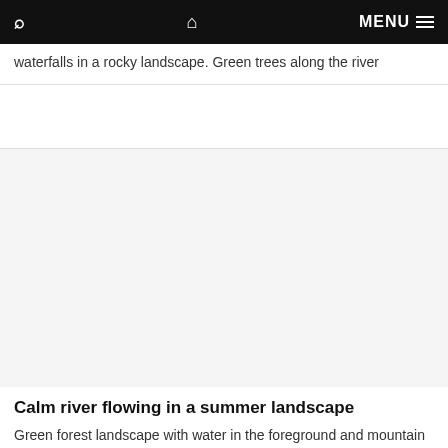MENU
waterfalls in a rocky landscape. Green trees along the river
[Figure (photo): Blank/white image placeholder for a landscape photo]
Calm river flowing in a summer landscape
Green forest landscape with water in the foreground and mountain tops in the background. Green trees and vegetation